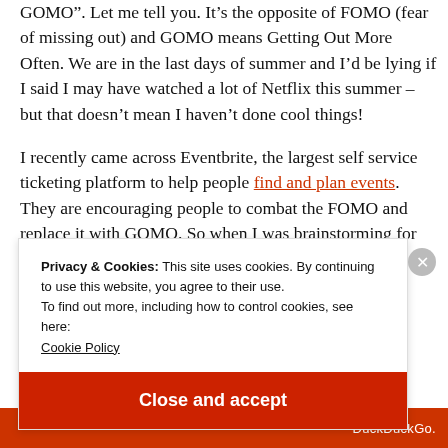GOMO". Let me tell you. It's the opposite of FOMO (fear of missing out) and GOMO means Getting Out More Often. We are in the last days of summer and I'd be lying if I said I may have watched a lot of Netflix this summer – but that doesn't mean I haven't done cool things!
I recently came across Eventbrite, the largest self service ticketing platform to help people find and plan events. They are encouraging people to combat the FOMO and replace it with GOMO. So when I was brainstorming for this post I was
Privacy & Cookies: This site uses cookies. By continuing to use this website, you agree to their use.
To find out more, including how to control cookies, see here:
Cookie Policy
Close and accept